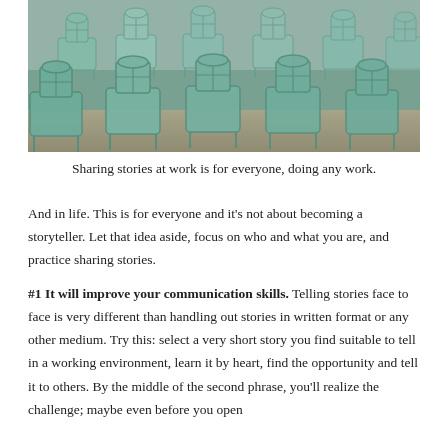[Figure (photo): Rows of green/mint plastic chairs arranged in an indoor venue, viewed from behind.]
Sharing stories at work is for everyone, doing any work.
And in life. This is for everyone and it's not about becoming a storyteller. Let that idea aside, focus on who and what you are, and practice sharing stories.
#1 It will improve your communication skills. Telling stories face to face is very different than handling out stories in written format or any other medium. Try this: select a very short story you find suitable to tell in a working environment, learn it by heart, find the opportunity and tell it to others. By the middle of the second phrase, you'll realize the challenge; maybe even before you open